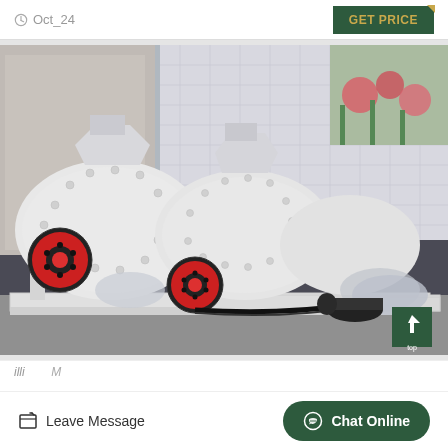Oct_24
GET PRICE
[Figure (photo): Multiple large white industrial hammer mill / crusher machines with red flywheel pulleys and black belts, mounted on white metal frames/pallets, positioned outdoors near a brick building and landscaping.]
Leave Message
Chat Online